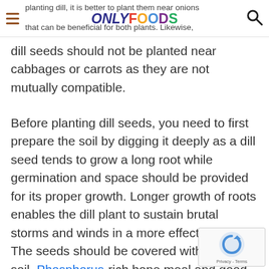ONLY FOODS (logo with hamburger menu and search icon)
planting dill, it is better to plant them near onions that can be beneficial for both plants. Likewise, dill seeds should not be planted near cabbages or carrots as they are not mutually compatible.
Before planting dill seeds, you need to first prepare the soil by digging it deeply as a dill seed tends to grow a long root while germination and space should be provided for its proper growth. Longer growth of roots enables the dill plant to sustain brutal storms and winds in a more effective way. The seeds should be covered with a layer of soil. Phosphorus-rich bone meal and good organic manure should also be added to increase the fertility of the soil. The soil should be made fertile and well drained. Sandy loam can also be added to make the soil more suitable for dill growth.